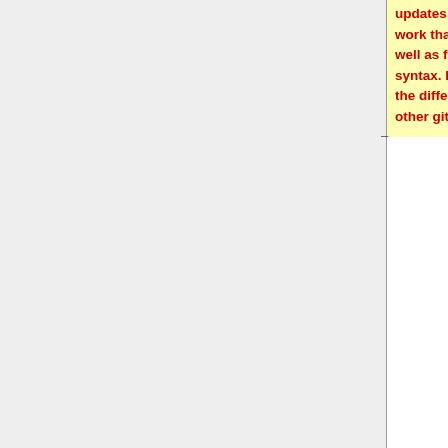updates to Peeter Vois and Zack Bartel's work that adds a GitHub-like stylesheet, as well as fixes for the latest updates to Git syntax. It is also an attempt to ameliorate the differences between gitweb and all other gitweb derivatives with git-php.
=== GitPHP ===
Line 978:
Line 1,032:
=== cgit ===
* [http://hjemli.net/git/cgit/ cgit] is a fast and lightweight webinterface written in